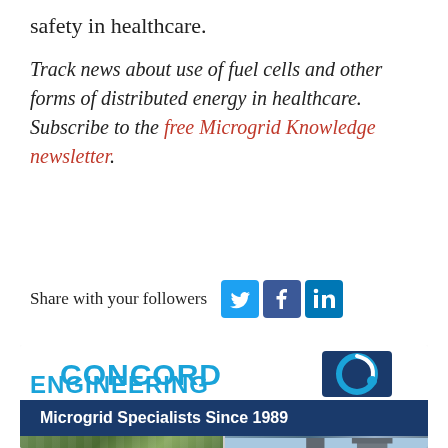safety in healthcare.
Track news about use of fuel cells and other forms of distributed energy in healthcare. Subscribe to the free Microgrid Knowledge newsletter.
Share with your followers
[Figure (logo): Concord Engineering logo with circular swoosh icon and tagline 'Microgrid Specialists Since 1989', with photos of solar panels and industrial equipment below]